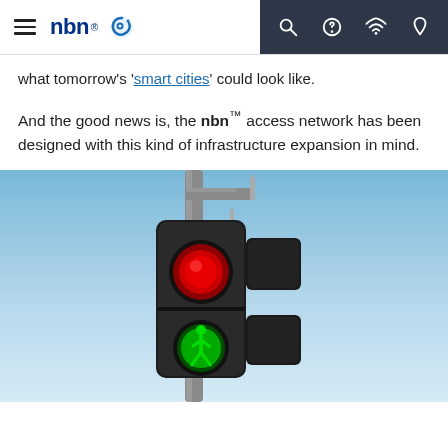nbn navigation bar with logo and icons
what tomorrow’s ‘smart cities’ could look like.
And the good news is, the nbn™ access network has been designed with this kind of infrastructure expansion in mind.
[Figure (photo): A smart traffic light with a red pedestrian signal at top and a green walking pedestrian signal at bottom, mounted on a pole with a side-mounted solar panel, against a clear blue sky background.]